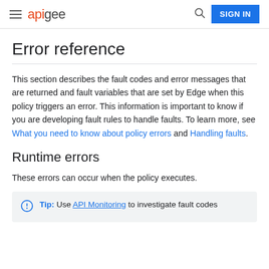apigee | SIGN IN
Error reference
This section describes the fault codes and error messages that are returned and fault variables that are set by Edge when this policy triggers an error. This information is important to know if you are developing fault rules to handle faults. To learn more, see What you need to know about policy errors and Handling faults.
Runtime errors
These errors can occur when the policy executes.
Tip: Use API Monitoring to investigate fault codes